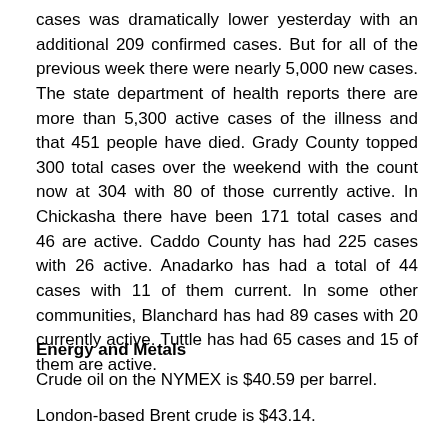cases was dramatically lower yesterday with an additional 209 confirmed cases. But for all of the previous week there were nearly 5,000 new cases. The state department of health reports there are more than 5,300 active cases of the illness and that 451 people have died. Grady County topped 300 total cases over the weekend with the count now at 304 with 80 of those currently active. In Chickasha there have been 171 total cases and 46 are active. Caddo County has had 225 cases with 26 active. Anadarko has had a total of 44 cases with 11 of them current. In some other communities, Blanchard has had 89 cases with 20 currently active. Tuttle has had 65 cases and 15 of them are active.
Energy and Metals
Crude oil on the NYMEX is $40.59 per barrel.
London-based Brent crude is $43.14.